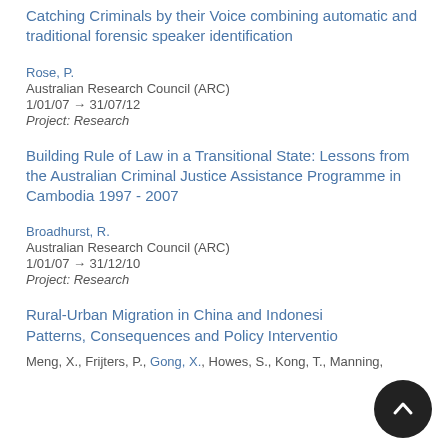Catching Criminals by their Voice combining automatic and traditional forensic speaker identification
Rose, P.
Australian Research Council (ARC)
1/01/07 → 31/07/12
Project: Research
Building Rule of Law in a Transitional State: Lessons from the Australian Criminal Justice Assistance Programme in Cambodia 1997 - 2007
Broadhurst, R.
Australian Research Council (ARC)
1/01/07 → 31/12/10
Project: Research
Rural-Urban Migration in China and Indonesia: Patterns, Consequences and Policy Interventions
Meng, X., Frijters, P., Gong, X., Howes, S., Kong, T., Manning,